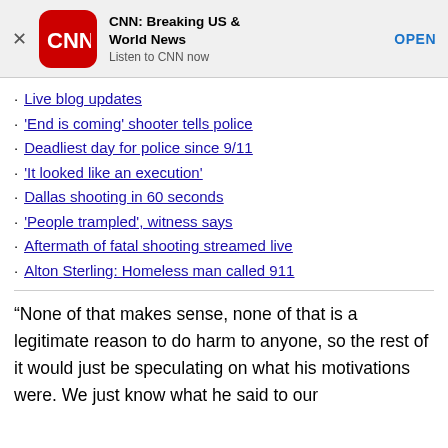[Figure (other): CNN app advertisement banner with CNN logo, title 'CNN: Breaking US & World News', subtitle 'Listen to CNN now', and OPEN button]
Live blog updates
‘End is coming’ shooter tells police
Deadliest day for police since 9/11
‘It looked like an execution’
Dallas shooting in 60 seconds
‘People trampled’, witness says
Aftermath of fatal shooting streamed live
Alton Sterling: Homeless man called 911
“None of that makes sense, none of that is a legitimate reason to do harm to anyone, so the rest of it would just be speculating on what his motivations were. We just know what he said to our